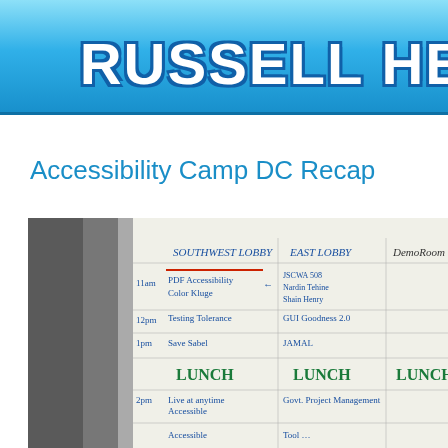RUSSELL HE
Accessibility Camp DC Recap
[Figure (photo): Photo of a whiteboard showing a schedule/agenda with columns labeled 'SOUTHWEST LOBBY', 'EAST LOBBY', and 'Demo Room'. Rows include time slots with entries like 'PDF Accessibility', 'Color Kluge', 'JSCWA 508', 'Nardin Tehine', 'Shain Henry', 'Testing Tolerance', 'GUI Goodness 2.0', 'Save Sabel', 'JAMAL', 'LUNCH', 'Live at anytime Accessible', 'Govt. Project Management'. Times visible include 11am, 12pm, 1pm, 2pm.]